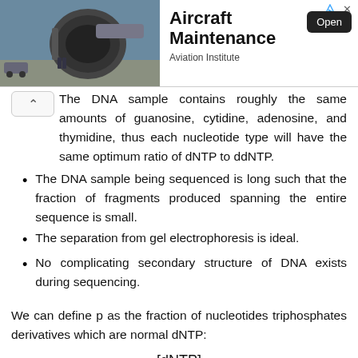[Figure (photo): Advertisement banner showing an aircraft engine maintenance scene with workers. Text reads 'Aircraft Maintenance', 'Aviation Institute', with an 'Open' button.]
The DNA sample contains roughly the same amounts of guanosine, cytidine, adenosine, and thymidine, thus each nucleotide type will have the same optimum ratio of dNTP to ddNTP.
The DNA sample being sequenced is long such that the fraction of fragments produced spanning the entire sequence is small.
The separation from gel electrophoresis is ideal.
No complicating secondary structure of DNA exists during sequencing.
We can define p as the fraction of nucleotides triphosphates derivatives which are normal dNTP: